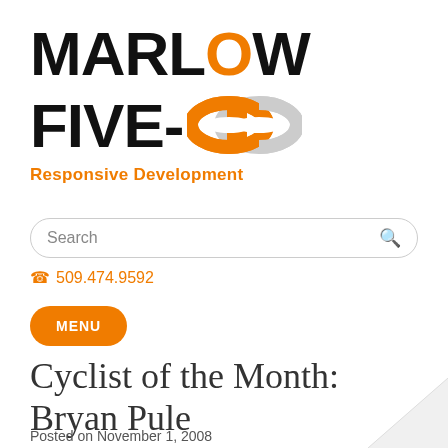[Figure (logo): Marlow Five-O logo with chain link graphic and tagline 'Responsive Development']
Search
509.474.9592
MENU
Cyclist of the Month: Bryan Pule
Posted on November 1, 2008